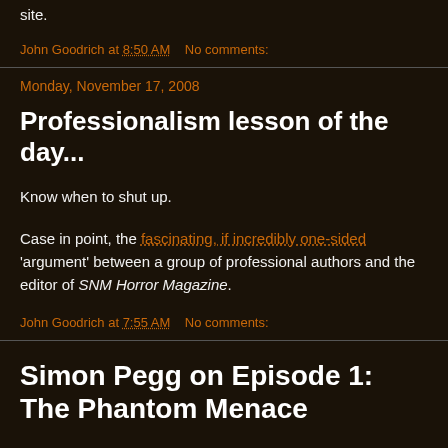site.
John Goodrich at 8:50 AM   No comments:
Monday, November 17, 2008
Professionalism lesson of the day...
Know when to shut up.
Case in point, the fascinating, if incredibly one-sided 'argument' between a group of professional authors and the editor of SNM Horror Magazine.
John Goodrich at 7:55 AM   No comments:
Simon Pegg on Episode 1: The Phantom Menace
"You are so blind. You don't understand, you weren't there at